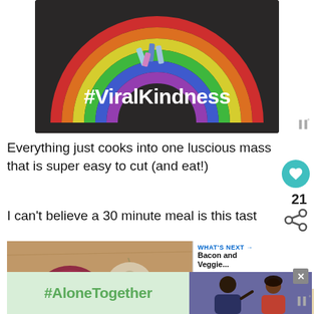[Figure (photo): Chalk rainbow drawn on dark asphalt with pieces of chalk on top, overlaid with white bold text '#ViralKindness']
Everything just cooks into one luscious mass that is super easy to cut (and eat!)
I can't believe a 30 minute meal is this tast
[Figure (photo): Food photography strip: left panel shows red onion and garlic bulbs on wooden surface; right panel shows cooked egg/cheese dish on white plate and yellow cooked food]
WHAT'S NEXT → Bacon and Veggie...
[Figure (photo): #AloneTogether banner in green with a photo of two smiling people waving, partially visible]